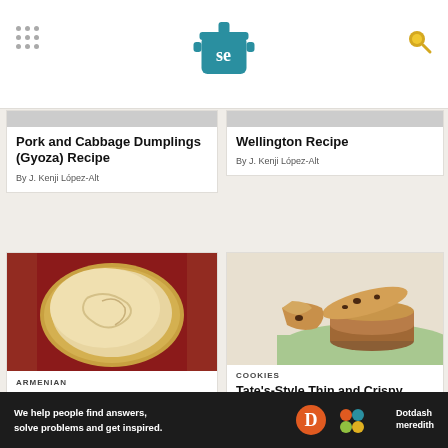Serious Eats (se logo)
The Best Japanese Pork and Cabbage Dumplings (Gyoza) Recipe
By J. Kenji López-Alt
The Ultimate Beef Wellington Recipe
By J. Kenji López-Alt
[Figure (photo): Overhead photo of lavash Armenian flatbread on decorative red plate]
ARMENIAN
Lavash (Armenian Flatbread)
[Figure (photo): Close-up photo of thin crispy chocolate chip cookies stacked on green surface]
COOKIES
Tate's-Style Thin and Crispy Chocolate Chip Cookies Recipe
By Stella Parks
We help people find answers, solve problems and get inspired. Dotdash meredith